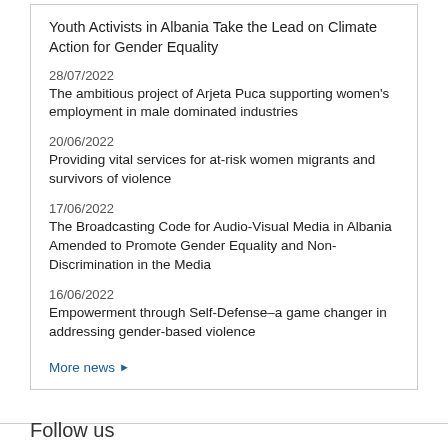Youth Activists in Albania Take the Lead on Climate Action for Gender Equality
28/07/2022
The ambitious project of Arjeta Puca supporting women's employment in male dominated industries
20/06/2022
Providing vital services for at-risk women migrants and survivors of violence
17/06/2022
The Broadcasting Code for Audio-Visual Media in Albania Amended to Promote Gender Equality and Non-Discrimination in the Media
16/06/2022
Empowerment through Self-Defense–a game changer in addressing gender-based violence
More news ►
Follow us